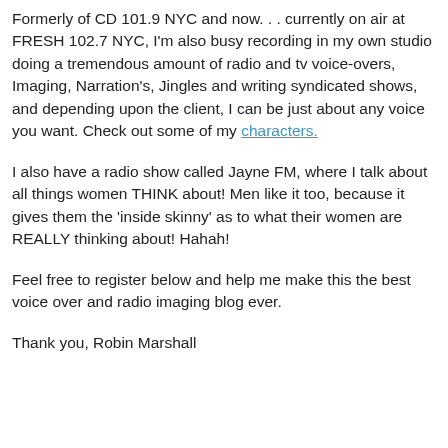Formerly of CD 101.9 NYC and now. . . currently on air at FRESH 102.7 NYC, I'm also busy recording in my own studio doing a tremendous amount of radio and tv voice-overs, Imaging, Narration's, Jingles and writing syndicated shows, and depending upon the client, I can be just about any voice you want. Check out some of my characters.
I also have a radio show called Jayne FM, where I talk about all things women THINK about! Men like it too, because it gives them the 'inside skinny' as to what their women are REALLY thinking about! Hahah!
Feel free to register below and help me make this the best voice over and radio imaging blog ever.
Thank you, Robin Marshall